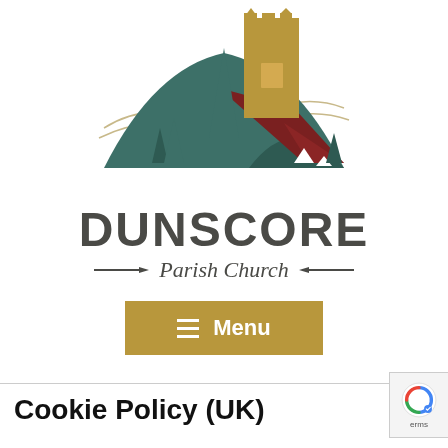[Figure (logo): Dunscore Parish Church logo showing a stylized church tower in gold/tan, surrounded by rolling hills in teal/dark green, with a dark red roof element. The hills form a symmetrical arch shape with small tree silhouettes.]
DUNSCORE Parish Church
[Figure (other): Gold/tan rectangular menu button with three horizontal white lines (hamburger menu icon) and the text 'Menu' in white bold font.]
Cookie Policy (UK)